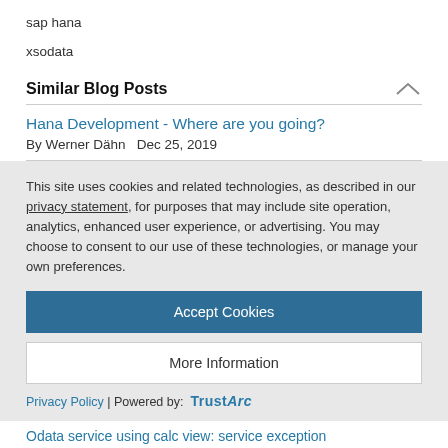sap hana
xsodata
Similar Blog Posts
Hana Development - Where are you going?
By Werner Dähn   Dec 25, 2019
This site uses cookies and related technologies, as described in our privacy statement, for purposes that may include site operation, analytics, enhanced user experience, or advertising. You may choose to consent to our use of these technologies, or manage your own preferences.
Accept Cookies
More Information
Privacy Policy | Powered by: TrustArc
Odata service using calc view: service exception